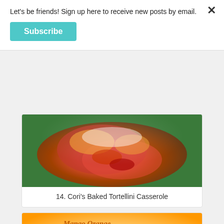Let's be friends! Sign up here to receive new posts by email.
Subscribe
[Figure (photo): Baked tortellini casserole with tomato sauce and melted cheese on a green plate]
14. Cori's Baked Tortellini Casserole
[Figure (photo): Mango Orange Smoothie in a glass with orange slices, orange and white floral background, with stylized text title]
15. Mango Orange Smoothie